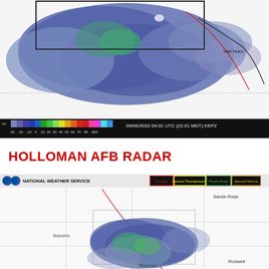[Figure (map): KEPZ radar reflectivity map showing precipitation over west Texas/New Mexico region with colorbar ranging from -30 to 80 dBZ. Timestamp: 09/06/2022 04:01 UTC (22:01 MDT) KEPZ. Shows blue-purple precipitation area with Van Horn labeled on right side.]
HOLLOMAN AFB RADAR
[Figure (map): National Weather Service radar map showing New Mexico region with precipitation (blue/green echoes) near Socorro and Ruidoso area. NWS header bar with alert categories: Tornado, Severe Thunderstorm, Flash Flood, Special Marine. Santa Rosa labeled upper right, Socorro labeled middle left, Ruidoso labeled lower center, Roswell labeled lower right.]